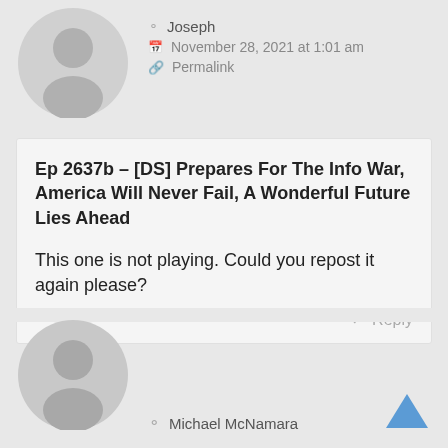[Figure (illustration): Gray default user avatar icon (person silhouette) for commenter Joseph]
Joseph
November 28, 2021 at 1:01 am
Permalink
Ep 2637b – [DS] Prepares For The Info War, America Will Never Fail, A Wonderful Future Lies Ahead

This one is not playing. Could you repost it again please?
Reply
[Figure (illustration): Gray default user avatar icon (person silhouette) for commenter Michael McNamara]
Michael McNamara